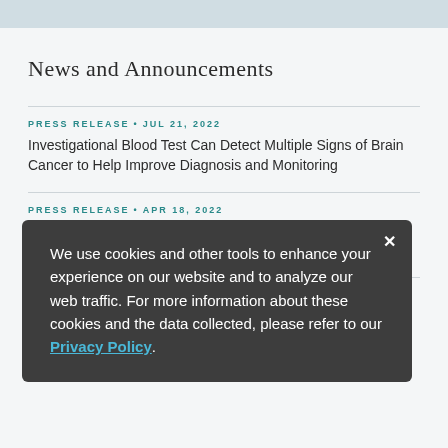News and Announcements
PRESS RELEASE • JUL 21, 2022
Investigational Blood Test Can Detect Multiple Signs of Brain Cancer to Help Improve Diagnosis and Monitoring
PRESS RELEASE • APR 18, 2022
Genetic analysis provides insights into the cause of hydrocephalus, or "water on the brain"
PRESS RELEASE • FEB 7, 2022
COVID-19-associated strokes link to higher disability and death risk
We use cookies and other tools to enhance your experience on our website and to analyze our web traffic. For more information about these cookies and the data collected, please refer to our Privacy Policy.